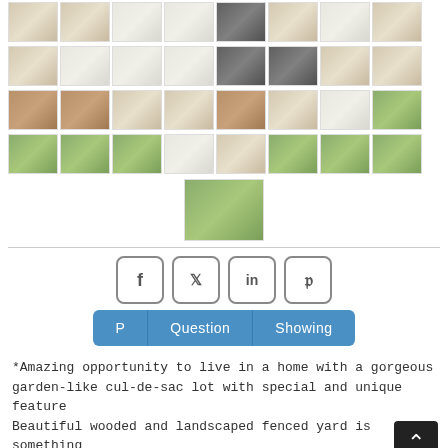[Figure (photo): Grid of property thumbnail photos showing interior rooms, kitchen, and outdoor/garden areas]
[Figure (photo): Single centered thumbnail photo showing garden/outdoor area]
[Figure (infographic): Social media share buttons: Facebook, Twitter, LinkedIn, Pinterest]
[Figure (infographic): Action buttons row: P (Print), Question, Showing]
*Amazing opportunity to live in a home with a gorgeous garden-like cul-de-sac lot with special and unique features. Beautiful wooded and landscaped fenced yard is something to see! Unique setting on 30+ 11 located. Cul-De-sac is thus...